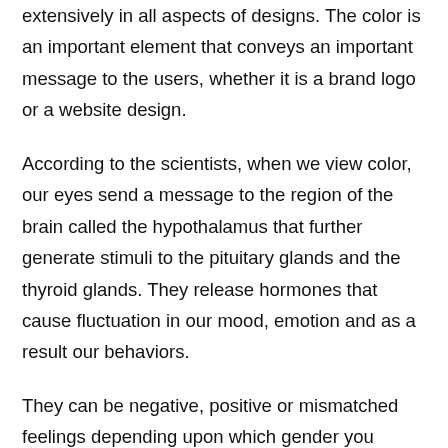extensively in all aspects of designs. The color is an important element that conveys an important message to the users, whether it is a brand logo or a website design.
According to the scientists, when we view color, our eyes send a message to the region of the brain called the hypothalamus that further generate stimuli to the pituitary glands and the thyroid glands. They release hormones that cause fluctuation in our mood, emotion and as a result our behaviors.
They can be negative, positive or mismatched feelings depending upon which gender you belong, For instance, if your designing for women, purple is